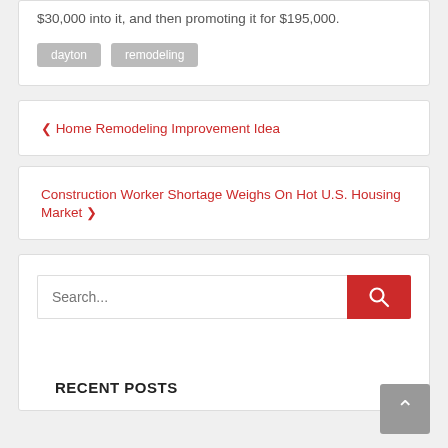$30,000 into it, and then promoting it for $195,000.
dayton
remodeling
❮ Home Remodeling Improvement Idea
Construction Worker Shortage Weighs On Hot U.S. Housing Market ❯
Search...
RECENT POSTS